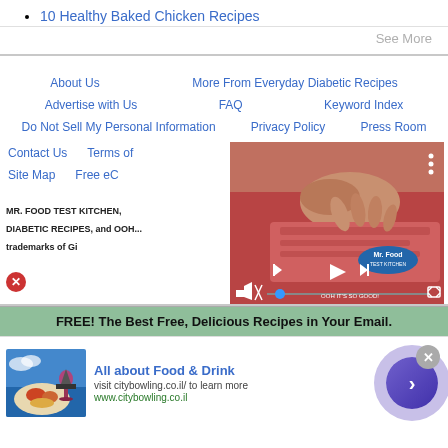10 Healthy Baked Chicken Recipes
See More
About Us   More From Everyday Diabetic Recipes   Advertise with Us   FAQ   Keyword Index   Do Not Sell My Personal Information   Privacy Policy   Press Room   Contact Us   Terms of   Site Map   Free eC
[Figure (photo): Video thumbnail showing hands handling raw meat/fish, with Mr. Food Test Kitchen logo and video playback controls]
MR. FOOD TEST KITCHEN, DIABETIC RECIPES, and OOH... trademarks of Gi
FREE! The Best Free, Delicious Recipes in Your Email.
[Figure (infographic): Advertisement: All about Food & Drink - visit citybowling.co.il to learn more, www.citybowling.co.il, with food and wine image and blue arrow button]